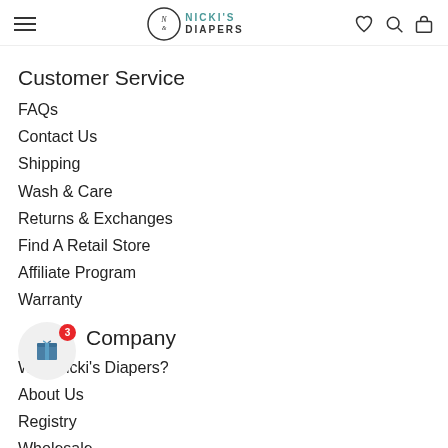Nicki's Diapers — navigation bar with menu, logo, wishlist, search, bag icons
Customer Service
FAQs
Contact Us
Shipping
Wash & Care
Returns & Exchanges
Find A Retail Store
Affiliate Program
Warranty
Company
Why Nicki's Diapers?
About Us
Registry
Wholesale
My Wishlist
Terms Of Service
Privacy Policy